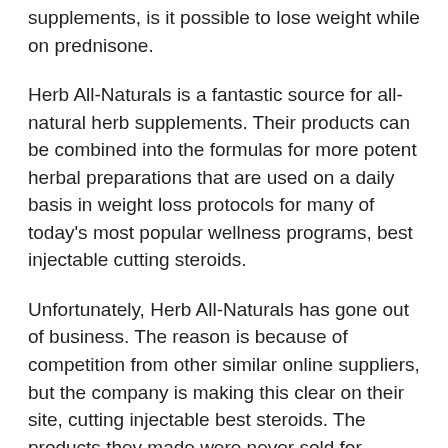supplements, is it possible to lose weight while on prednisone.
Herb All-Naturals is a fantastic source for all-natural herb supplements. Their products can be combined into the formulas for more potent herbal preparations that are used on a daily basis in weight loss protocols for many of today's most popular wellness programs, best injectable cutting steroids.
Unfortunately, Herb All-Naturals has gone out of business. The reason is because of competition from other similar online suppliers, but the company is making this clear on their site, cutting injectable best steroids. The products they made were never sold for medical purposes. But as for the herbal supplements they sell for the purposes of weight loss they still have them on their website that can be found under the Herb All-Naturals category heading, how to